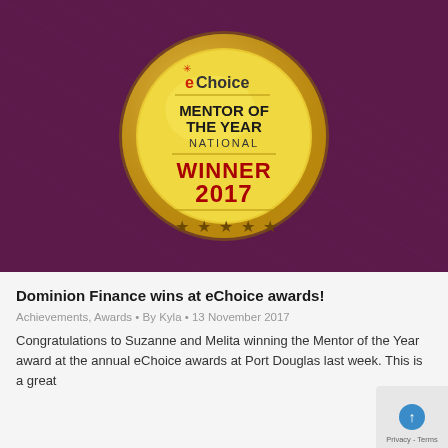[Figure (illustration): Award medal on purple/maroon background. Gold medal with 'eChoice MENTOR OF THE YEAR NATIONAL WINNER 2017' text and five stars at bottom.]
Dominion Finance wins at eChoice awards!
Achievements, Awards • By Kyla • 13 November 2017
Congratulations to Suzanne and Melita winning the Mentor of the Year award at the annual eChoice awards at Port Douglas last week. This is a great